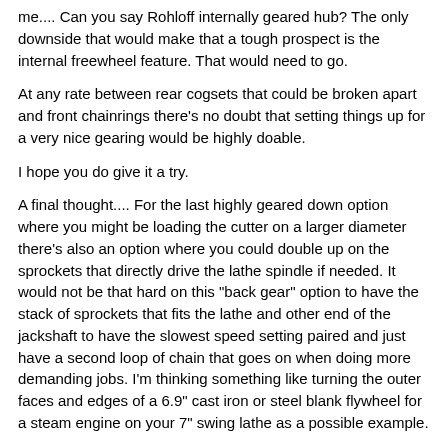me.... Can you say Rohloff internally geared hub? The only downside that would make that a tough prospect is the internal freewheel feature. That would need to go.
At any rate between rear cogsets that could be broken apart and front chainrings there's no doubt that setting things up for a very nice gearing would be highly doable.
I hope you do give it a try.
A final thought.... For the last highly geared down option where you might be loading the cutter on a larger diameter there's also an option where you could double up on the sprockets that directly drive the lathe spindle if needed. It would not be that hard on this "back gear" option to have the stack of sprockets that fits the lathe and other end of the jackshaft to have the slowest speed setting paired and just have a second loop of chain that goes on when doing more demanding jobs. I'm thinking something like turning the outer faces and edges of a 6.9" cast iron or steel blank flywheel for a steam engine on your 7" swing lathe as a possible example.
At the very least I hope you do have a go at doing this even if it initially starts as just replacing the cogbelt to start. Although given that you can't go TOO small on either sprocket without running into the cogging issue mentioned I think you'll be looking at a fairly major modification even as basic replacement. After all the sprocket for the cog belt on the motor is VERY small. You can't go that small on a bicycle chain. Even on rear setups with 11 teeth as the final I've noticed that I can feel a slight amount of the cogging they are talking about above. You really don't want to go smaller than 13 and I suspect more like 15 would be